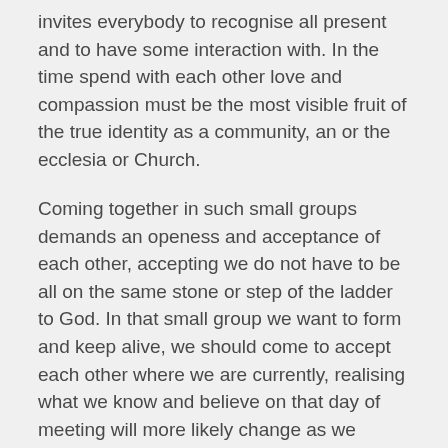invites everybody to recognise all present and to have some interaction with. In the time spend with each other love and compassion must be the most visible fruit of the true identity as a community, an or the ecclesia or Church.
Coming together in such small groups demands an openess and acceptance of each other, accepting we do not have to be all on the same stone or step of the ladder to God. In that small group we want to form and keep alive, we should come to accept each other where we are currently, realising what we know and believe on that day of meeting will more likely change as we continue to walk under the guidance of the Spirit and continue to grow in our faith. We can love each other, learn from one another and accept each other as we are, just like Jesus loves and accepts us just as we are.